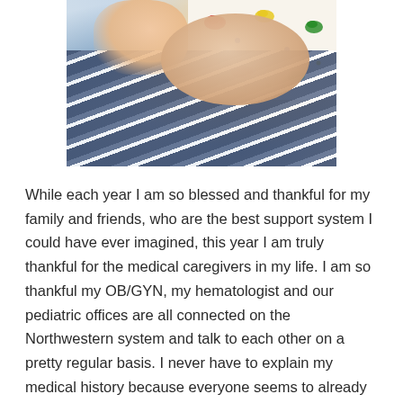[Figure (photo): A baby lying on a dinosaur-patterned blanket, being held by someone wearing a striped blue top. The photo is cropped showing mostly the baby's head and the colorful blanket.]
While each year I am so blessed and thankful for my family and friends, who are the best support system I could have ever imagined, this year I am truly thankful for the medical caregivers in my life.  I am so thankful my OB/GYN, my hematologist and our pediatric offices are all connected on the Northwestern system and talk to each other on a pretty regular basis.  I never have to explain my medical history because everyone seems to already know my “case” and is informed on all my medical issues.  Over the past month I have received many calls and follow-up calls directly from my doctors checking in on how I'm doing and how Marty is doing.  It has been